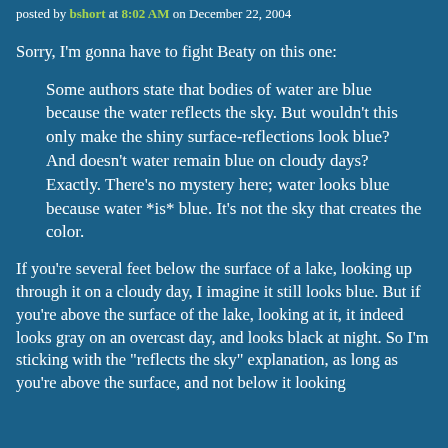posted by bshort at 8:02 AM on December 22, 2004
Sorry, I'm gonna have to fight Beaty on this one:
Some authors state that bodies of water are blue because the water reflects the sky. But wouldn't this only make the shiny surface-reflections look blue? And doesn't water remain blue on cloudy days? Exactly. There's no mystery here; water looks blue because water *is* blue. It's not the sky that creates the color.
If you're several feet below the surface of a lake, looking up through it on a cloudy day, I imagine it still looks blue. But if you're above the surface of the lake, looking at it, it indeed looks gray on an overcast day, and looks black at night. So I'm sticking with the "reflects the sky" explanation, as long as you're above the surface, and not below it looking